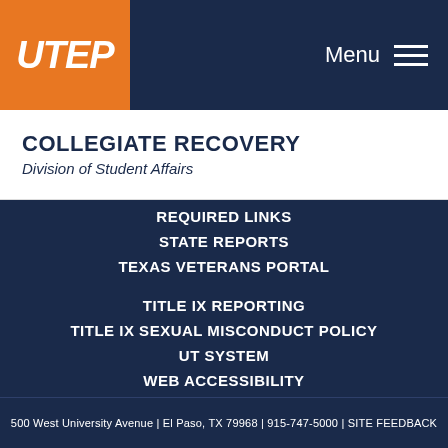[Figure (logo): UTEP orange logo box with white italic UTEP text]
Menu
COLLEGIATE RECOVERY
Division of Student Affairs
REQUIRED LINKS
STATE REPORTS
TEXAS VETERANS PORTAL
TITLE IX REPORTING
TITLE IX SEXUAL MISCONDUCT POLICY
UT SYSTEM
WEB ACCESSIBILITY
WEB PRIVACY POLICY
500 West University Avenue | El Paso, TX 79968 | 915-747-5000 | SITE FEEDBACK